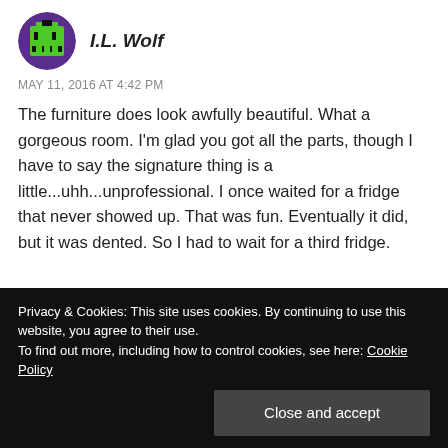[Figure (illustration): Pixel art avatar: green and black character on purple circular background]
I.L. Wolf
MAY 11, 2016 AT 4:42 PM
The furniture does look awfully beautiful. What a gorgeous room. I'm glad you got all the parts, though I have to say the signature thing is a little...uhh...unprofessional. I once waited for a fridge that never showed up. That was fun. Eventually it did, but it was dented. So I had to wait for a third fridge.
Privacy & Cookies: This site uses cookies. By continuing to use this website, you agree to their use.
To find out more, including how to control cookies, see here: Cookie Policy
Close and accept